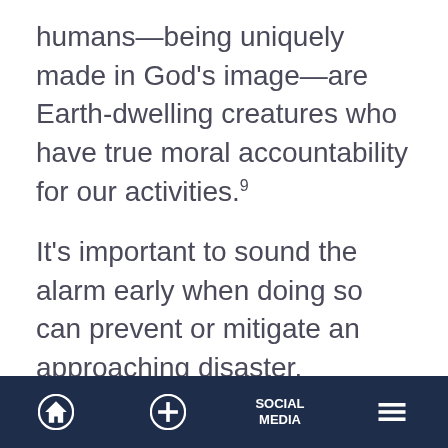humans—being uniquely made in God's image—are Earth-dwelling creatures who have true moral accountability for our activities.⁹
It's important to sound the alarm early when doing so can prevent or mitigate an approaching disaster. Sometimes the messenger of bad news pays a price for delivering an unwelcome message, but it's better to sound the alarm—hopefully early enough to prevent harm—than to delay a warning that leads to damage-control
Home | + | SOCIAL MEDIA | Menu